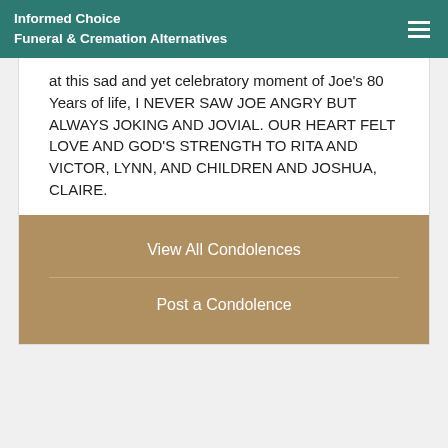Informed Choice Funeral & Cremation Alternatives
at this sad and yet celebratory moment of Joe's 80 Years of life, I NEVER SAW JOE ANGRY BUT ALWAYS JOKING AND JOVIAL. OUR HEART FELT LOVE AND GOD'S STRENGTH TO RITA AND VICTOR, LYNN, AND CHILDREN AND JOSHUA, CLAIRE.
View All Condolences
Post a Condolence